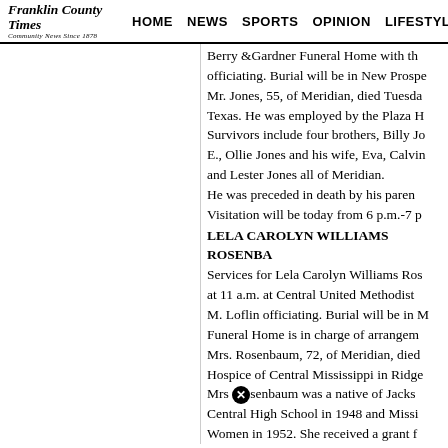Franklin County Times | HOME | NEWS | SPORTS | OPINION | LIFESTYLES
Berry & Gardner Funeral Home with th... officiating. Burial will be in New Prospe... Mr. Jones, 55, of Meridian, died Tuesda... Texas. He was employed by the Plaza H... Survivors include four brothers, Billy Jo... E., Ollie Jones and his wife, Eva, Calvin... and Lester Jones all of Meridian. He was preceded in death by his paren... Visitation will be today from 6 p.m.-7 p...
LELA CAROLYN WILLIAMS ROSENBA...
Services for Lela Carolyn Williams Ros... at 11 a.m. at Central United Methodist... M. Loflin officiating. Burial will be in M... Funeral Home is in charge of arrangem... Mrs. Rosenbaum, 72, of Meridian, died... Hospice of Central Mississippi in Ridge... Mrs. Rosenbaum was a native of Jacks... Central High School in 1948 and Missi... Women in 1952. She received a grant f... librarianship in 1967. She received a Li... University of Southern Mississippi and... elementary administration from Missi...